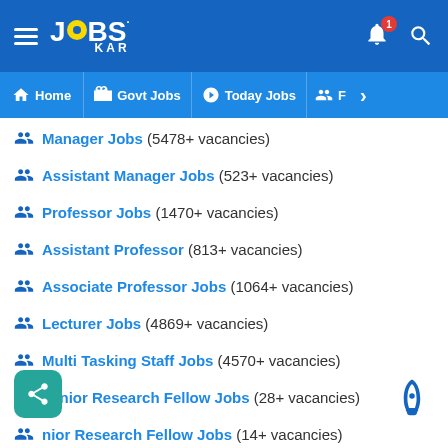JOBSKAR app header with hamburger menu, logo, bell notification (1), and search icon
Navigation: Home | Govt Jobs | Today Jobs | F...
Manager Jobs (5478+ vacancies)
Assistant Manager Jobs (523+ vacancies)
Professor Jobs (1470+ vacancies)
Assistant Professor (813+ vacancies)
Associate Professor Jobs (1064+ vacancies)
Lecturer Jobs (4869+ vacancies)
Multi Tasking Staff Jobs (4570+ vacancies)
Junior Research Fellow Jobs (28+ vacancies)
Senior Research Fellow Jobs (14+ vacancies)
Stenographer Jobs (5085+ vacancies)